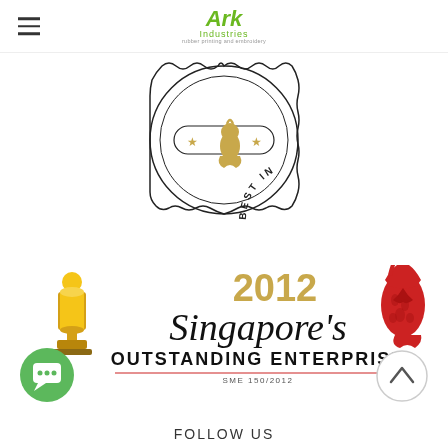Ark Industries
[Figure (logo): Best in Singapore circular badge/seal with scalloped edge, featuring a Merlion icon in the center with decorative stars and a pill-shaped frame. Text around the circle reads BEST IN SINGAPORE.]
[Figure (logo): Singapore's 2012 Outstanding Enterprise award logo. Features a gold trophy icon on the left, stylized script text 'Singapore's' with '2012' in gold above, a red Merlion head on the right, and bold text 'OUTSTANDING ENTERPRISE' below with 'SME 150/2012' beneath a red line.]
[Figure (illustration): Green circular chat/support button with white speech bubble icon, located bottom left.]
[Figure (illustration): Circular scroll-to-top button with upward chevron arrow, located bottom right.]
FOLLOW US